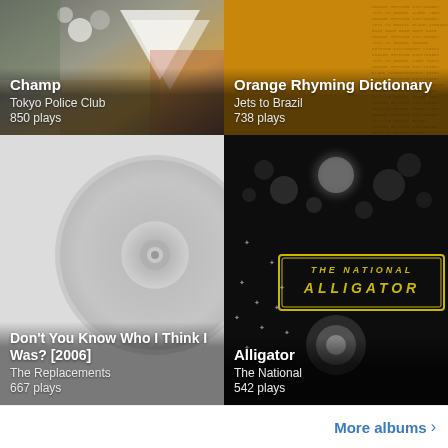[Figure (photo): Album art for Champ by Tokyo Police Club - photo collage with colorful fragments]
Champ
Tokyo Police Club
850 plays
[Figure (photo): Album art for Orange Rhyming Dictionary by Jets to Brazil - golden/amber background with text decoration]
Orange Rhyming Dictionary
Jets to Brazil
738 plays
[Figure (photo): Album art for Don't You Know Who I Think I Was? [2006] by The Replacements - light grey vinyl disc]
Don't You Know Who I Think I Was? [2006]
The Replacements
667 plays
[Figure (photo): Album art for Alligator by The National - dark black background with bokeh lights and The National Alligator retro text logo]
Alligator
The National
542 plays
More albums ›
×